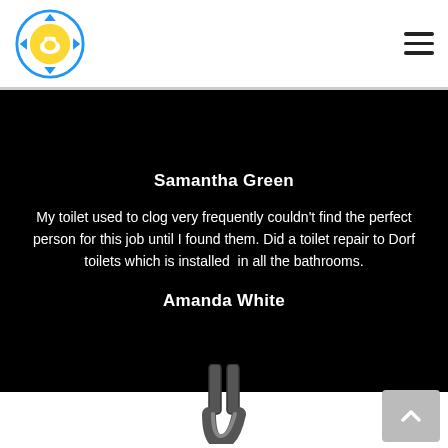Toilet Repair Service logo and navigation
Samantha Green
My toilet used to clog very frequently couldn't find the perfect person for this job until I found them. Did a toilet repair to Dorf toilets which is installed  in all the bathrooms.
Amanda White
[Figure (illustration): Curved pipe or faucet fixture shown at bottom center of page]
[Figure (other): Grey scroll-to-top button with upward chevron arrow in bottom right corner]